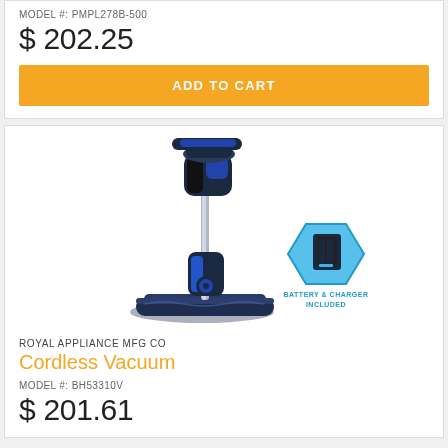MODEL #: PMPL278B-500
$ 202.25
ADD TO CART
[Figure (photo): Cordless stick vacuum cleaner, dark blue and black color, with a detachable handheld unit on top, standing upright with floor head attachment. A badge in the lower right shows a battery charger with text 'BATTERY & CHARGER INCLUDED'.]
ROYAL APPLIANCE MFG CO
Cordless Vacuum
MODEL #: BH53310V
$ 201.61